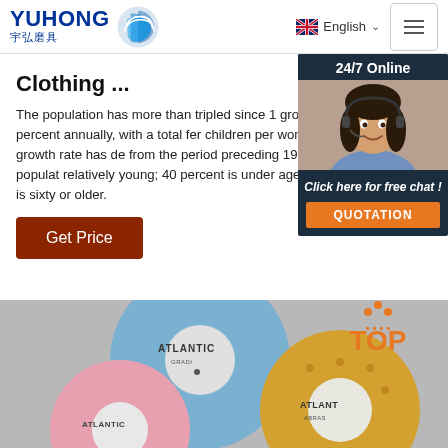YUHONG 宇弘磨具 | English
Clothing ...
The population has more than tripled since 1 growing 2.5 percent annually, with a total fer children per woman. The growth rate has de from the period preceding 1975. The populat relatively young; 40 percent is under age 15, percent is sixty or older.
[Figure (photo): Customer service representative with headset, 24/7 Online chat widget with QUOTATION button]
[Figure (photo): Atlantic brand grinding wheels/abrasive discs in blue, pink and gold colors on grey background with TOP badge]